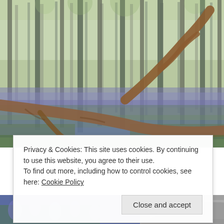[Figure (photo): A forest scene with tall thin trees, a carpet of purple/blue bluebells on the forest floor, and a large fallen/dead tree branch in the foreground. Spring foliage visible.]
Privacy & Cookies: This site uses cookies. By continuing to use this website, you agree to their use.
To find out more, including how to control cookies, see here: Cookie Policy
Close and accept
[Figure (photo): Bottom portion of a bluebell forest scene showing purple flowers and a log/rock.]